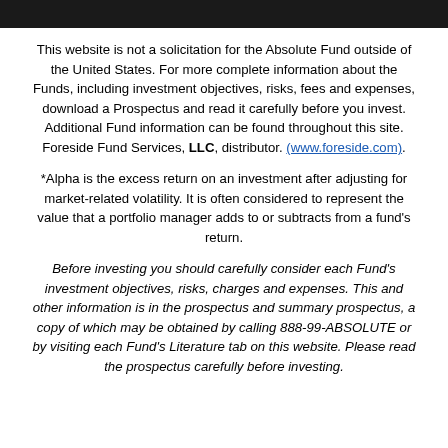This website is not a solicitation for the Absolute Fund outside of the United States. For more complete information about the Funds, including investment objectives, risks, fees and expenses, download a Prospectus and read it carefully before you invest. Additional Fund information can be found throughout this site. Foreside Fund Services, LLC, distributor. (www.foreside.com).
*Alpha is the excess return on an investment after adjusting for market-related volatility. It is often considered to represent the value that a portfolio manager adds to or subtracts from a fund's return.
Before investing you should carefully consider each Fund's investment objectives, risks, charges and expenses. This and other information is in the prospectus and summary prospectus, a copy of which may be obtained by calling 888-99-ABSOLUTE or by visiting each Fund's Literature tab on this website. Please read the prospectus carefully before investing.